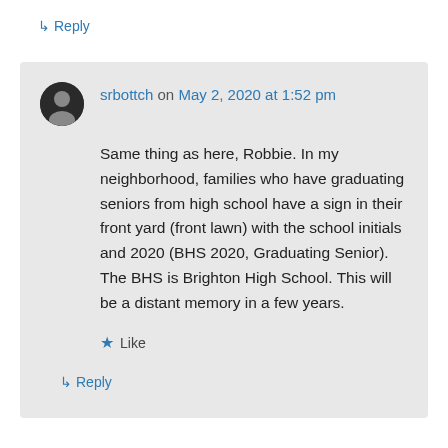↳ Reply
srbottch on May 2, 2020 at 1:52 pm
Same thing as here, Robbie. In my neighborhood, families who have graduating seniors from high school have a sign in their front yard (front lawn) with the school initials and 2020 (BHS 2020, Graduating Senior). The BHS is Brighton High School. This will be a distant memory in a few years.
★ Like
↳ Reply